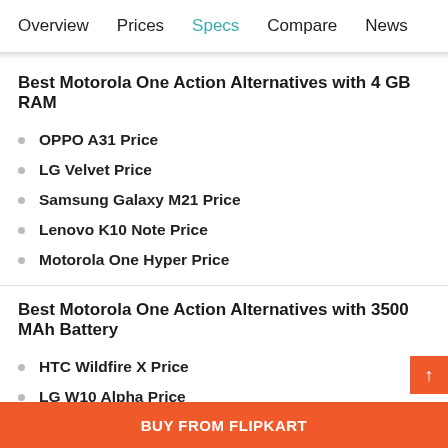Overview  Prices  Specs  Compare  News
Best Motorola One Action Alternatives with 4 GB RAM
OPPO A31 Price
LG Velvet Price
Samsung Galaxy M21 Price
Lenovo K10 Note Price
Motorola One Hyper Price
Best Motorola One Action Alternatives with 3500 MAh Battery
HTC Wildfire X Price
LG W10 Alpha Price
BUY FROM FLIPKART